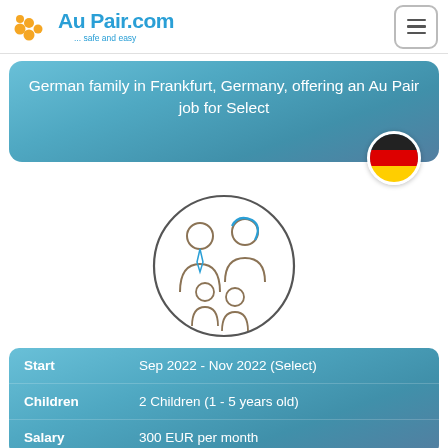[Figure (logo): AuPair.com logo with colorful dots and tagline '... safe and easy']
German family in Frankfurt, Germany, offering an Au Pair job for Select
[Figure (illustration): Circle illustration showing a family with two adults and two children, line-art style with blue and brown tones]
| Field | Value |
| --- | --- |
| Start | Sep 2022 - Nov 2022 (Select) |
| Children | 2 Children (1 - 5 years old) |
| Salary | 300 EUR per month |